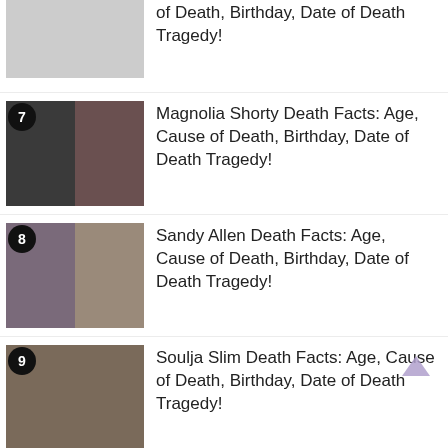of Death, Birthday, Date of Death Tragedy!
Magnolia Shorty Death Facts: Age, Cause of Death, Birthday, Date of Death Tragedy!
Sandy Allen Death Facts: Age, Cause of Death, Birthday, Date of Death Tragedy!
Soulja Slim Death Facts: Age, Cause of Death, Birthday, Date of Death Tragedy!
Michael Jackson Death Facts: Age,